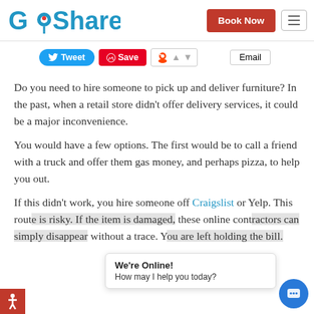[Figure (logo): GoShare logo with map pin icon replacing the 'O']
[Figure (screenshot): Book Now red button and hamburger menu icon]
[Figure (screenshot): Social sharing bar with Tweet, Save, Reddit, and Email buttons]
Do you need to hire someone to pick up and deliver furniture? In the past, when a retail store didn't offer delivery services, it could be a major inconvenience.
You would have a few options. The first would be to call a friend with a truck and offer them gas money, and perhaps pizza, to help you out.
If this didn't work, you hire someone off Craigslist or Yelp. This rout... is risky. If the item is damaged, these online cont... ors can simply disappear without a trace. Y... are left holding the bill.
[Figure (screenshot): We're Online! chat popup and chat button overlay, plus accessibility icon]